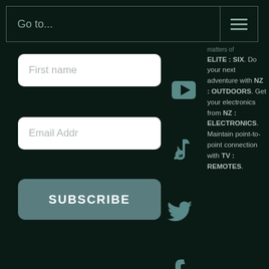Go to...
First name
Email Addr
SUBSCRIBE
[Figure (other): YouTube play button icon]
[Figure (other): TikTok icon]
[Figure (other): Twitter bird icon]
[Figure (other): Tumblr icon]
[Figure (other): Flickr two circles icon]
[Figure (other): Email envelope icon]
matters of ELITE : SIX. Do your next adventure with NZ : OUTDOORS. Get your electronics from NZ : ELECTRONICS. Maintain point-to-point connecti... with TV ... REMOTES.
[Figure (other): Chat bubble icon overlay]
Powered by WPENGINE all content displayed on